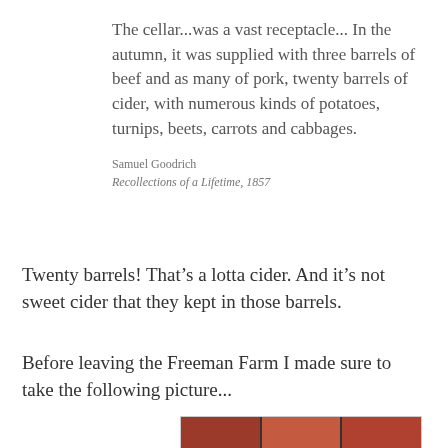The cellar...was a vast receptacle... In the autumn, it was supplied with three barrels of beef and as many of pork, twenty barrels of cider, with numerous kinds of potatoes, turnips, beets, carrots and cabbages.
Samuel Goodrich
Recollections of a Lifetime, 1857
Twenty barrels! That’s a lotta cider. And it’s not sweet cider that they kept in those barrels.
Before leaving the Freeman Farm I made sure to take the following picture...
[Figure (photo): A photograph showing reddish-pink wooden boards or barrels, split into three panels side by side.]